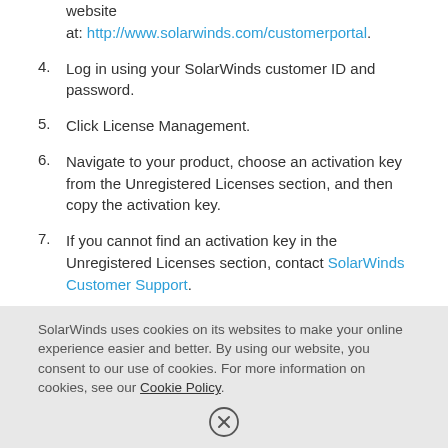website at: http://www.solarwinds.com/customerportal.
4. Log in using your SolarWinds customer ID and password.
5. Click License Management.
6. Navigate to your product, choose an activation key from the Unregistered Licenses section, and then copy the activation key.
7. If you cannot find an activation key in the Unregistered Licenses section, contact SolarWinds Customer Support.
8. Return to the Activate Mini Remote Control window.
SolarWinds uses cookies on its websites to make your online experience easier and better. By using our website, you consent to our use of cookies. For more information on cookies, see our Cookie Policy.